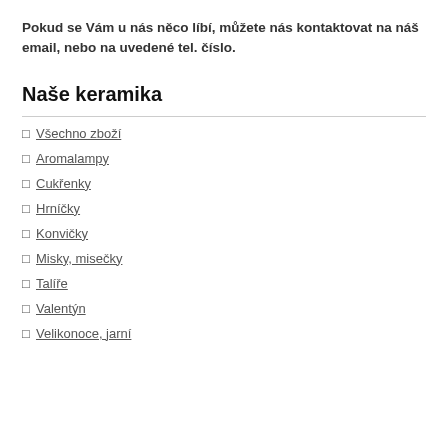Pokud se Vám u nás něco líbí, můžete nás kontaktovat na náš email, nebo na uvedené tel. číslo.
Naše keramika
Všechno zboží
Aromalampy
Cukřenky
Hrníčky
Konvičky
Misky, misečky
Talíře
Valentýn
Velikonoce, jarní